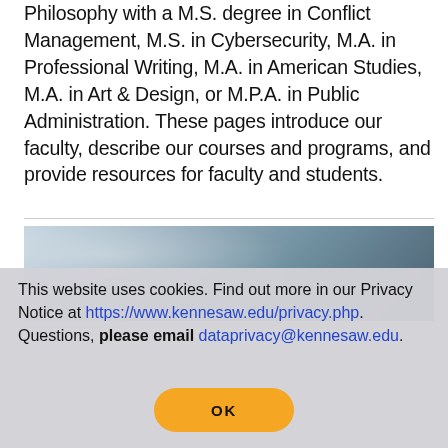Philosophy with a M.S. degree in Conflict Management, M.S. in Cybersecurity, M.A. in Professional Writing, M.A. in American Studies, M.A. in Art & Design, or M.P.A. in Public Administration. These pages introduce our faculty, describe our courses and programs, and provide resources for faculty and students.
[Figure (photo): A photo of a person at a desk, partially visible, in a bright environment with natural light.]
This website uses cookies. Find out more in our Privacy Notice at https://www.kennesaw.edu/privacy.php. Questions, please email dataprivacy@kennesaw.edu.
OK